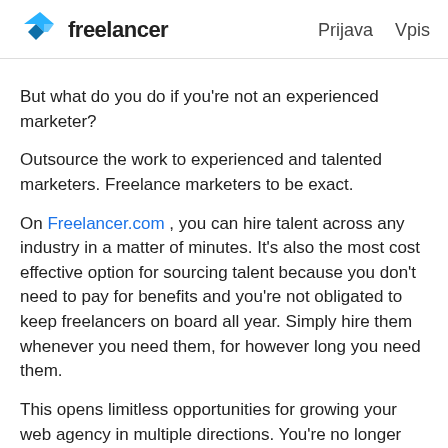Freelancer  Prijava  Vpis
But what do you do if you're not an experienced marketer?
Outsource the work to experienced and talented marketers. Freelance marketers to be exact.
On Freelancer.com , you can hire talent across any industry in a matter of minutes. It's also the most cost effective option for sourcing talent because you don't need to pay for benefits and you're not obligated to keep freelancers on board all year. Simply hire them whenever you need them, for however long you need them.
This opens limitless opportunities for growing your web agency in multiple directions. You're no longer limited by your abilities, if there's a service your clients are willing to pay for you can offer it through hard working freelancers.